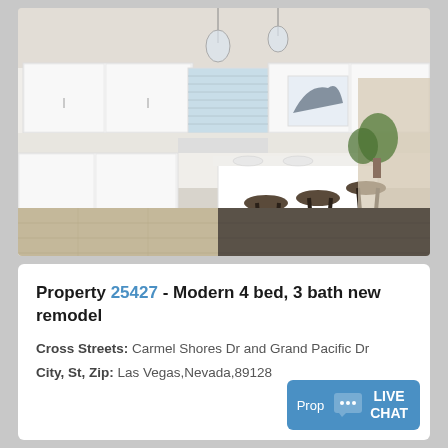[Figure (photo): Interior kitchen photo showing modern remodeled kitchen with white cabinets, kitchen island with bar stools, pendant lights, and hardwood floors]
Property 25427 - Modern 4 bed, 3 bath new remodel
Cross Streets: Carmel Shores Dr and Grand Pacific Dr
City, St, Zip: Las Vegas,Nevada,89128